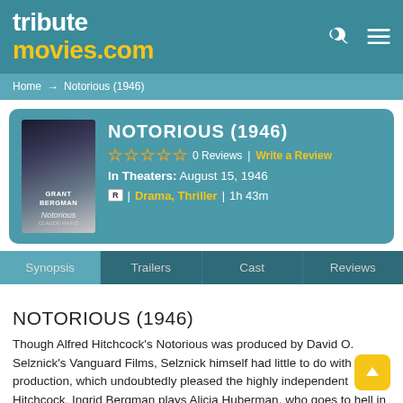tributemovies.com
Home → Notorious (1946)
NOTORIOUS (1946)
0 Reviews | Write a Review
In Theaters: August 15, 1946
R | Drama, Thriller | 1h 43m
Synopsis | Trailers | Cast | Reviews
NOTORIOUS (1946)
Though Alfred Hitchcock's Notorious was produced by David O. Selznick's Vanguard Films, Selznick himself had little to do with the production, which undoubtedly pleased the highly independent Hitchcock. Ingrid Bergman plays Alicia Huberman, who goes to hell in a